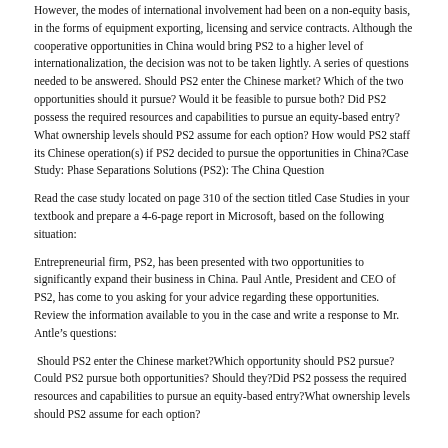However, the modes of international involvement had been on a non-equity basis, in the forms of equipment exporting, licensing and service contracts. Although the cooperative opportunities in China would bring PS2 to a higher level of internationalization, the decision was not to be taken lightly. A series of questions needed to be answered. Should PS2 enter the Chinese market? Which of the two opportunities should it pursue? Would it be feasible to pursue both? Did PS2 possess the required resources and capabilities to pursue an equity-based entry? What ownership levels should PS2 assume for each option? How would PS2 staff its Chinese operation(s) if PS2 decided to pursue the opportunities in China?Case Study: Phase Separations Solutions (PS2): The China Question
Read the case study located on page 310 of the section titled Case Studies in your textbook and prepare a 4-6-page report in Microsoft, based on the following situation:
Entrepreneurial firm, PS2, has been presented with two opportunities to significantly expand their business in China. Paul Antle, President and CEO of PS2, has come to you asking for your advice regarding these opportunities. Review the information available to you in the case and write a response to Mr. Antle’s questions:
Should PS2 enter the Chinese market?Which opportunity should PS2 pursue?Could PS2 pursue both opportunities? Should they?Did PS2 possess the required resources and capabilities to pursue an equity-based entry?What ownership levels should PS2 assume for each option?